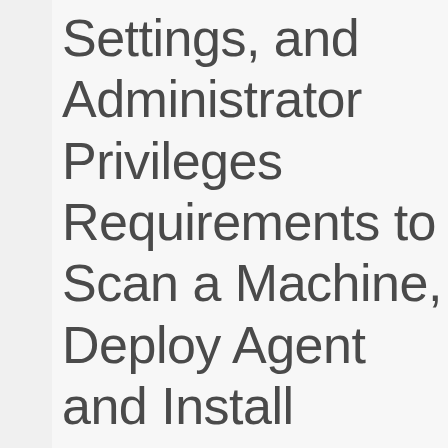Settings, and Administrator Privileges Requirements to Scan a Machine, Deploy Agent and Install Missing Patches